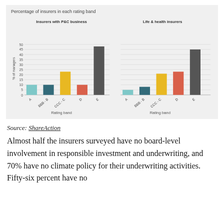[Figure (grouped-bar-chart): Percentage of insurers in each rating band]
Source: ShareAction
Almost half the insurers surveyed have no board-level involvement in responsible investment and underwriting, and 70% have no climate policy for their underwriting activities. Fifty-six percent have no